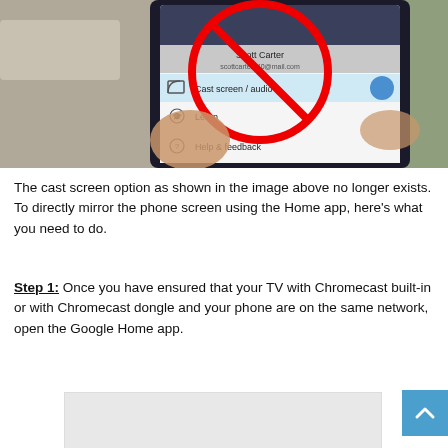[Figure (photo): A hand holding a smartphone displaying the Google Cast/Chromecast app menu showing options: 'Cast screen / audio', 'Learn', and 'Help & feedback'. A red circle with a line through it (prohibition symbol) is overlaid on the top portion of the phone screen, indicating the cast screen option no longer exists.]
The cast screen option as shown in the image above no longer exists. To directly mirror the phone screen using the Home app, here's what you need to do.
Step 1: Once you have ensured that your TV with Chromecast built-in or with Chromecast dongle and your phone are on the same network, open the Google Home app.
[Figure (screenshot): A light gray rectangular advertisement or image placeholder area at the bottom of the page.]